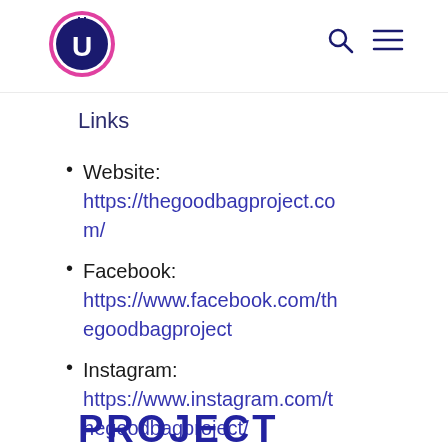[Figure (logo): Circular logo with pink outer ring and dark blue inner circle with white U letter, and a blue plug icon inside]
[Figure (other): Search icon (magnifying glass) and hamburger menu icon in dark navy]
Links
Website: https://thegoodbagproject.com/
Facebook: https://www.facebook.com/thegoodbagproject
Instagram: https://www.instagram.com/thegoodbagproject/
PROJECT